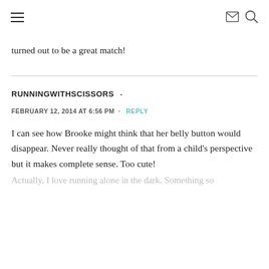navigation header with hamburger menu, email icon, and search icon
turned out to be a great match!
RUNNINGWITHSCISSORS  ·
FEBRUARY 12, 2014 AT 6:56 PM  ·  REPLY
I can see how Brooke might think that her belly button would disappear. Never really thought of that from a child's perspective but it makes complete sense. Too cute!
Actually, I love running alone in the dark. Something so